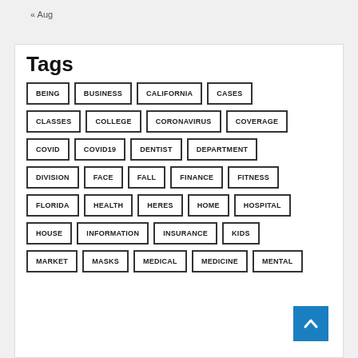« Aug
Tags
BEING
BUSINESS
CALIFORNIA
CASES
CLASSES
COLLEGE
CORONAVIRUS
COVERAGE
COVID
COVID19
DENTIST
DEPARTMENT
DIVISION
FACE
FALL
FINANCE
FITNESS
FLORIDA
HEALTH
HERES
HOME
HOSPITAL
HOUSE
INFORMATION
INSURANCE
KIDS
MARKET
MASKS
MEDICAL
MEDICINE
MENTAL